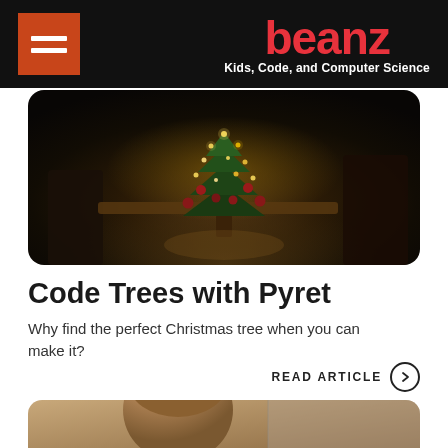beanz — Kids, Code, and Computer Science
[Figure (photo): Christmas tree with ornaments and lights, viewed from a dark room, dramatic lighting]
Code Trees with Pyret
Why find the perfect Christmas tree when you can make it?
READ ARTICLE
[Figure (photo): Child with short hair viewed from behind, partial lower portion of image]